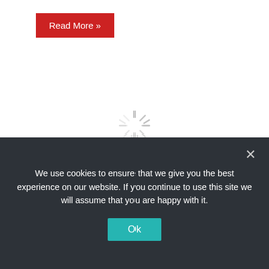Read More »
[Figure (illustration): Loading spinner (animated spinning wheel graphic)]
Startups
admin  22 mins ago  0
Singapore startup launches hard crypto
We use cookies to ensure that we give you the best experience on our website. If you continue to use this site we will assume that you are happy with it.
Ok